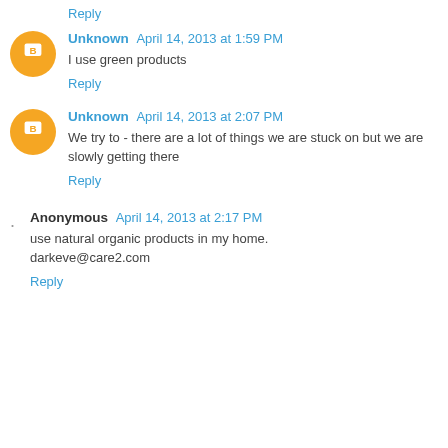Reply
Unknown  April 14, 2013 at 1:59 PM
I use green products
Reply
Unknown  April 14, 2013 at 2:07 PM
We try to - there are a lot of things we are stuck on but we are slowly getting there
Reply
Anonymous  April 14, 2013 at 2:17 PM
use natural organic products in my home.
darkeve@care2.com
Reply